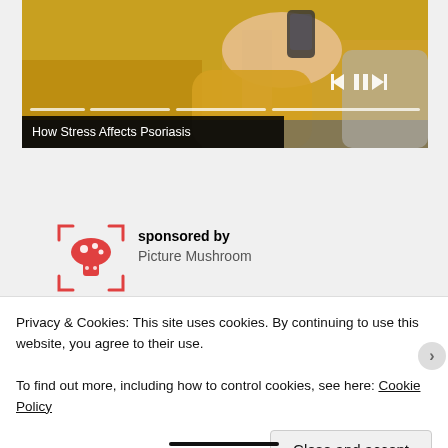[Figure (photo): Screenshot of a medical website video player showing a person in a yellow sweater holding a phone, with video controls (skip back, pause, skip forward) and a progress bar. Video title overlay reads 'How Stress Affects Psoriasis'.]
How Stress Affects Psoriasis
[Figure (logo): Picture Mushroom app logo: red mushroom with white spots inside a red corner-bracket frame (scan/AR style frame).]
sponsored by
Picture Mushroom
Privacy & Cookies: This site uses cookies. By continuing to use this website, you agree to their use.
To find out more, including how to control cookies, see here: Cookie Policy
Close and accept